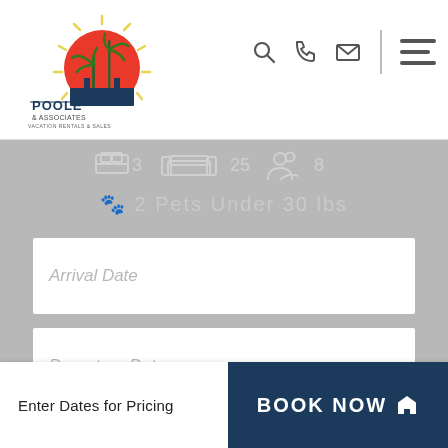[Figure (logo): Poole & Associates Vacation Rentals & Sales logo — sun with palm trees, text POOLE & ASSOCIATES, VACATION RENTALS & SALES]
[Figure (infographic): Navigation icons: search, phone, email, divider, hamburger menu]
3  25  8
🐾 2 Pets Under 30 lbs
Arrival Date
Departure Date
Guests
Pets
Enter Dates for Pricing
BOOK NOW 🏠